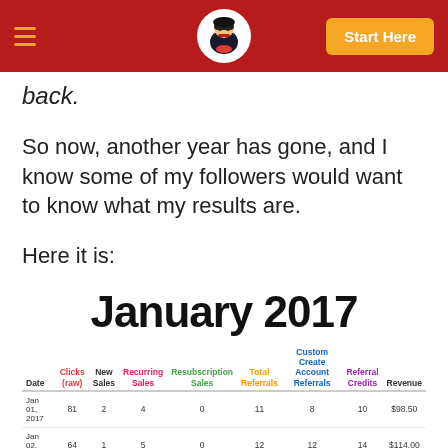Start Here
back.
So now, another year has gone, and I know some of my followers would want to know what my results are.
Here it is:
January 2017
| Date | Clicks (raw) | New Sales | Recurring Sales | Resubscription Sales | Total Referrals | Custom Create Account Referrals | Referral Credits | Revenue |
| --- | --- | --- | --- | --- | --- | --- | --- | --- |
| Jan 01, 2017 | 81 | 2 | 4 | 0 | 11 | 8 | 10 | $98.50 |
| Jan 02, 2017 | 64 | 1 | 5 | 0 | 12 | 12 | 14 | $114.00 |